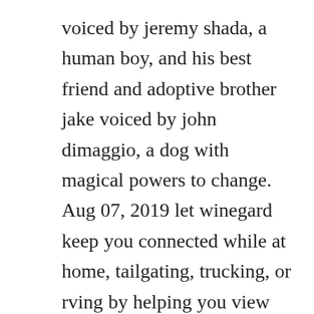voiced by jeremy shada, a human boy, and his best friend and adoptive brother jake voiced by john dimaggio, a dog with magical powers to change. Aug 07, 2019 let winegard keep you connected while at home, tailgating, trucking, or rving by helping you view your favorite shows with this smart hdtv tower finder app with augmented reality. So the cullens try to convince them that renesmme is not a threat. Season 1, episdoe 3 sheridan smith david walliams is joined by stage and tv actress sheridan smith, who transforms into a